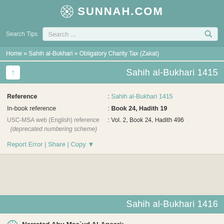SUNNAH.COM
Search Tips
Search ...
Home » Sahih al-Bukhari » Obligatory Charity Tax (Zakat)
Sahih al-Bukhari 1415
| Label | Value |
| --- | --- |
| Reference | : Sahih al-Bukhari 1415 |
| In-book reference | : Book 24, Hadith 19 |
| USC-MSA web (English) reference (deprecated numbering scheme) | : Vol. 2, Book 24, Hadith 496 |
Report Error | Share | Copy ▼
Sahih al-Bukhari 1416
Narrated Abu Mas`ud Al-Ansari: